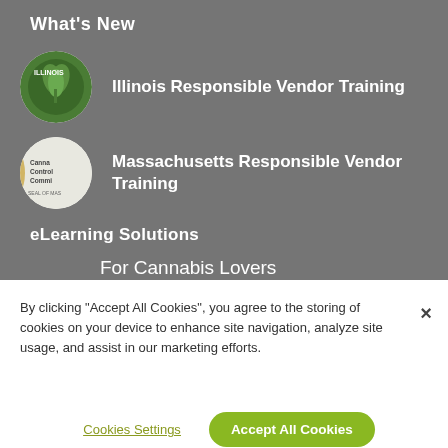What's New
Illinois Responsible Vendor Training
Massachusetts Responsible Vendor Training
eLearning Solutions
For Cannabis Lovers
For Professionals
By clicking “Accept All Cookies”, you agree to the storing of cookies on your device to enhance site navigation, analyze site usage, and assist in our marketing efforts.
Cookies Settings
Accept All Cookies